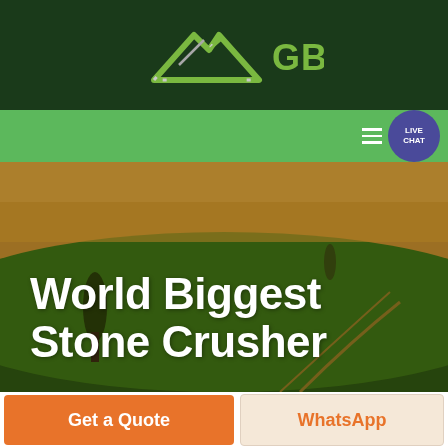[Figure (logo): GBM company logo with mountain/arrow graphic in dark green header bar]
[Figure (screenshot): Green navigation bar with hamburger menu icon and live chat speech bubble button]
[Figure (photo): Aerial photograph of rolling green and brown agricultural fields with trees]
World Biggest Stone Crusher
Get a Quote
WhatsApp